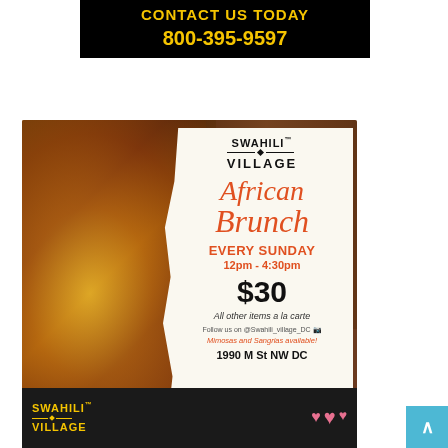[Figure (infographic): Black banner with yellow bold text reading 'CONTACT US TODAY' and phone number '800-395-9597']
[Figure (photo): Swahili Village African Brunch promotional flyer showing food photo (yellow rice, fried chicken, stew) on left and torn white paper overlay on right with text: SWAHILI VILLAGE, African Brunch, EVERY SUNDAY 12pm - 4:30pm, $30, All other items a la carte, Follow us on @Swahili_village_DC, Mimosas and Sangrias available!, 1990 M St NW DC. Yellow bar at bottom.]
[Figure (infographic): Partial preview of second Swahili Village flyer with black background, yellow logo text, and pink heart emojis visible]